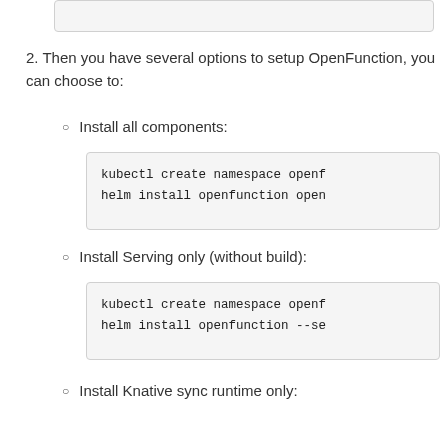[Figure (screenshot): Partial code box visible at top of page, cut off]
2. Then you have several options to setup OpenFunction, you can choose to:
Install all components:
kubectl create namespace openf
helm install openfunction open
Install Serving only (without build):
kubectl create namespace openf
helm install openfunction --se
Install Knative sync runtime only: